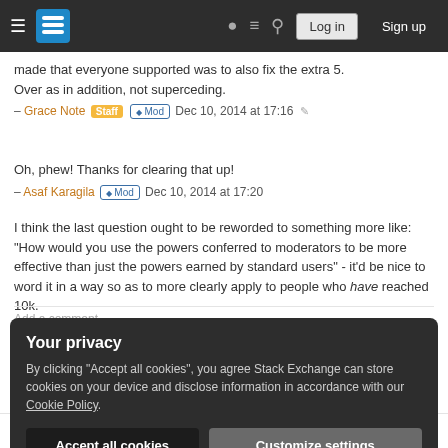Stack Exchange navigation bar with Log in and Sign up buttons
made that everyone supported was to also fix the extra 5. Over as in addition, not superceding.
– Grace Note [Staff] [Mod] Dec 10, 2014 at 17:16
Oh, phew! Thanks for clearing that up!
– Asaf Karagila [Mod] Dec 10, 2014 at 17:20
I think the last question ought to be reworded to something more like: "How would you use the powers conferred to moderators to be more effective than just the powers earned by standard users" - it'd be nice to word it in a way so as to more clearly apply to people who have reached 10k.
– Milo Brandt Dec 12, 2014 at 3:53
Add a comment
Your privacy
By clicking "Accept all cookies", you agree Stack Exchange can store cookies on your device and disclose information in accordance with our Cookie Policy.
discussions and the comments there?